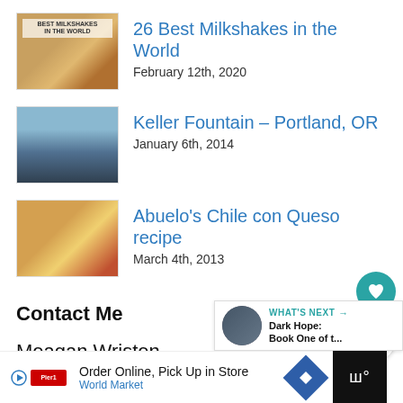26 Best Milkshakes in the World
February 12th, 2020
Keller Fountain – Portland, OR
January 6th, 2014
Abuelo's Chile con Queso recipe
March 4th, 2013
Contact Me
Meagan Wristen
MommyTravels@aol.com
[Figure (infographic): Small circular heart icon (favorite button, teal background) and share button]
[Figure (infographic): What's Next banner: thumbnail image, label WHAT'S NEXT, text 'Dark Hope: Book One of t...']
[Figure (infographic): Advertisement bar: Order Online, Pick Up in Store – World Market]